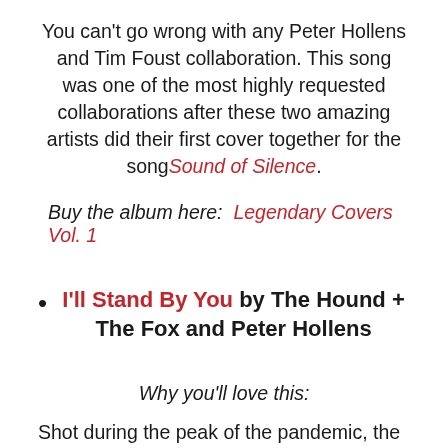You can't go wrong with any Peter Hollens and Tim Foust collaboration. This song was one of the most highly requested collaborations after these two amazing artists did their first cover together for the song Sound of Silence.
Buy the album here:  Legendary Covers Vol. 1
I'll Stand By You by The Hound + The Fox and Peter Hollens
Why you'll love this:
Shot during the peak of the pandemic, the artists stood 6 feet away from each other during the